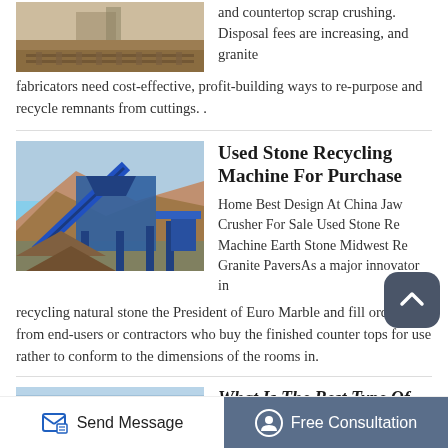[Figure (photo): Outdoor photo of a quarry or mining area with rocky terrain and machinery]
and countertop scrap crushing. Disposal fees are increasing, and granite fabricators need cost-effective, profit-building ways to re-purpose and recycle remnants from cuttings. .
Used Stone Recycling Machine For Purchase
[Figure (photo): Industrial blue stone recycling/crushing machine at an outdoor site]
Home Best Design At China Jaw Crusher For Sale Used Stone Recycling Machine Earth Stone Midwest Recycled Granite PaversAs a major innovator in recycling natural stone the President of Euro Marble and fill orders from end-users or contractors who buy the finished counter tops for use rather to conform to the dimensions of the rooms in.
[Figure (photo): Partial view of another article image (blue toned)]
What Is The Best Type Of
Send Message
Free Consultation